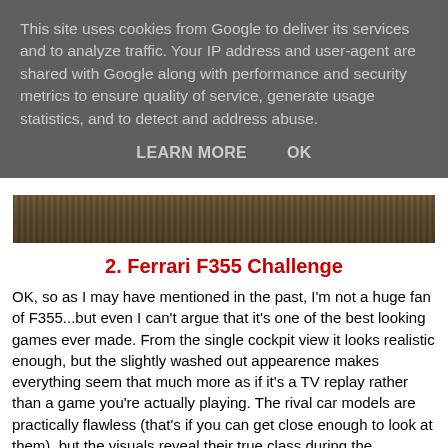This site uses cookies from Google to deliver its services and to analyze traffic. Your IP address and user-agent are shared with Google along with performance and security metrics to ensure quality of service, generate usage statistics, and to detect and address abuse.
LEARN MORE    OK
[Figure (photo): A partial view of what appears to be a wooden surface or track, dark tones with horizontal streaks]
2. Ferrari F355 Challenge
OK, so as I may have mentioned in the past, I'm not a huge fan of F355...but even I can't argue that it's one of the best looking games ever made. From the single cockpit view it looks realistic enough, but the slightly washed out appearence makes everything seem that much more as if it's a TV replay rather than a game you're actually playing. The rival car models are practically flawless (that's if you can get close enough to look at them), but the visuals reveal their true class during the replays...honestly, it could fool your eyes into thinking you were watching a real race. The only problem is, the only Channel that would show